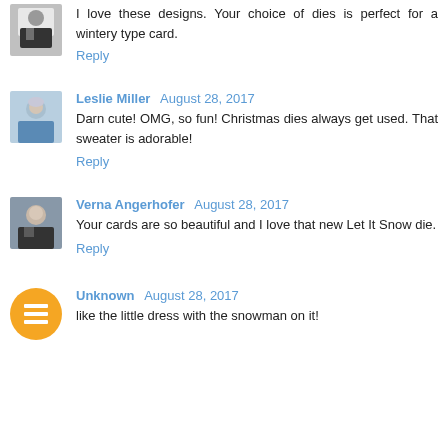I love these designs. Your choice of dies is perfect for a wintery type card.
Reply
Leslie Miller  August 28, 2017
Darn cute! OMG, so fun! Christmas dies always get used. That sweater is adorable!
Reply
Verna Angerhofer  August 28, 2017
Your cards are so beautiful and I love that new Let It Snow die.
Reply
Unknown  August 28, 2017
like the little dress with the snowman on it!